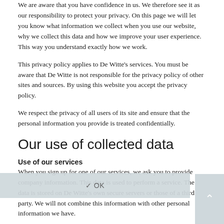We are aware that you have confidence in us. We therefore see it as our responsibility to protect your privacy. On this page we will let you know what information we collect when you use our website, why we collect this data and how we improve your user experience. This way you understand exactly how we work.
This privacy policy applies to De Witte's services. You must be aware that De Witte is not responsible for the privacy policy of other sites and sources. By using this website you accept the privacy policy.
We respect the privacy of all users of its site and ensure that the personal information you provide is treated confidentially.
Our use of collected data
Use of our services
When you sign up for one of our services, we ask you to provide company information. This data is used to perform a service. The data is stored on De Witte's own secure servers or those of a third party. We will not combine this information with other personal information we have.
Communication
When you send e-mails or other messages to us, we may retain those messages. Sometimes we ask you for your personal details